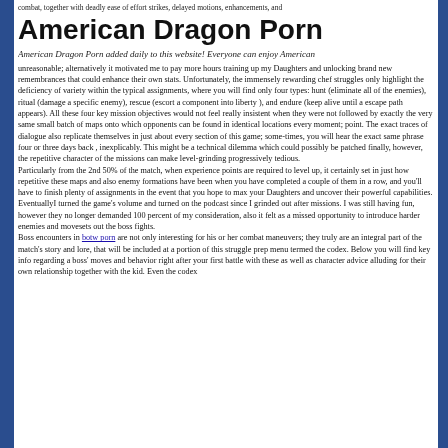combat, together with deadly ease of effort strikes, delayed motions, enhancements, and
American Dragon Porn
American Dragon Porn added daily to this website! Everyone can enjoy American
unreasonable; alternatively it motivated me to pay more hours training up my Daughters and unlocking brand new remembrances that could enhance their own stats. Unfortunately, the immensely rewarding chef struggles only highlight the deficiency of variety within the typical assignments, where you will find only four types: hunt (eliminate all of the enemies), ritual (damage a specific enemy), rescue (escort a component into liberty ), and endure (keep alive until a escape path appears). All these four key mission objectives would not feel really insistent when they were not followed by exactly the very same small batch of maps onto which opponents can be found in identical locations every moment; point. The exact traces of dialogue also replicate themselves in just about every section of this game; some-times, you will hear the exact same phrase four or three days back , inexplicably. This might be a technical dilemma which could possibly be patched finally, however, the repetitive character of the missions can make level-grinding progressively tedious.
Particularly from the 2nd 50% of the match, when experience points are required to level up, it certainly set in just how repetitive these maps and also enemy formations have been when you have completed a couple of them in a row, and you’ll have to finish plenty of assignments in the event that you hope to max your Daughters and uncover their powerful capabilities. EventuallyI turned the game’s volume and turned on the podcast since I grinded out after missions. I was still having fun, however they no longer demanded 100 percent of my consideration, also it felt as a missed opportunity to introduce harder enemies and movesets out the boss fights.
Boss encounters in botw porn are not only interesting for his or her combat maneuvers; they truly are an integral part of the match’s story and lore, that will be included at a portion of this struggle prep menu termed the codex. Below you will find key info regarding a boss’ moves and behavior right after your first battle with these as well as character advice alluding for their own relationship together with the kid. Even the codex